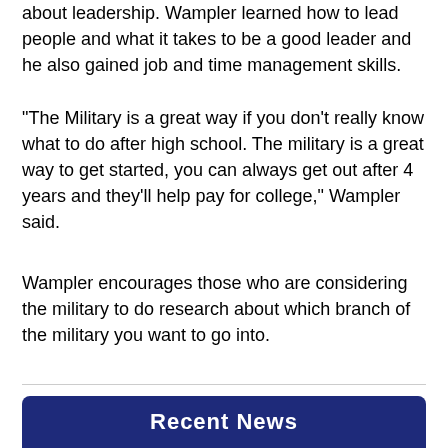about leadership. Wampler learned how to lead people and what it takes to be a good leader and he also gained job and time management skills.
“The Military is a great way if you don't really know what to do after high school. The military is a great way to get started, you can always get out after 4 years and they'll help pay for college,” Wampler said.
Wampler encourages those who are considering the military to do research about which branch of the military you want to go into.
Recent News